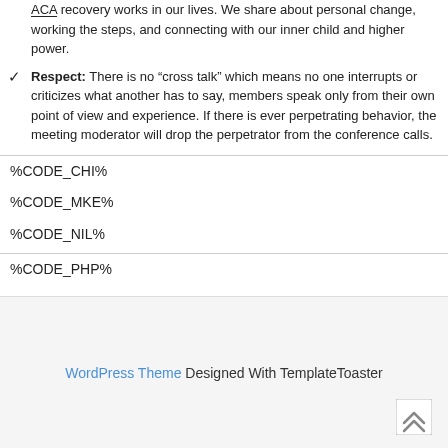ACA recovery works in our lives. We share about personal change, working the steps, and connecting with our inner child and higher power.
Respect: There is no “cross talk” which means no one interrupts or criticizes what another has to say, members speak only from their own point of view and experience. If there is ever perpetrating behavior, the meeting moderator will drop the perpetrator from the conference calls.
%CODE_CHI%
%CODE_MKE%
%CODE_NIL%
%CODE_PHP%
WordPress Theme Designed With TemplateToaster